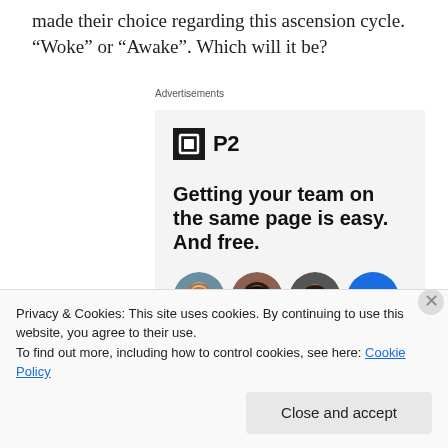made their choice regarding this ascension cycle. “Woke” or “Awake”. Which will it be?
[Figure (screenshot): Advertisement for P2 (WordPress collaboration tool) showing logo, headline 'Getting your team on the same page is easy. And free.' and avatar images of three people plus a blue plus button.]
Privacy & Cookies: This site uses cookies. By continuing to use this website, you agree to their use.
To find out more, including how to control cookies, see here: Cookie Policy